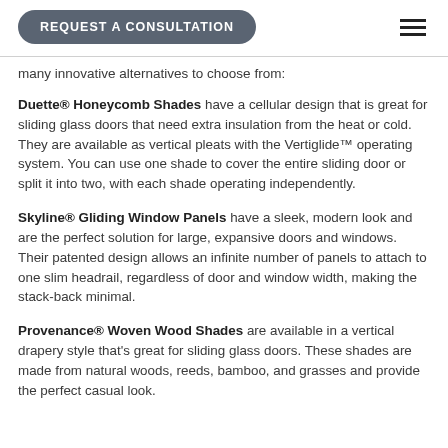REQUEST A CONSULTATION
many innovative alternatives to choose from:
Duette® Honeycomb Shades have a cellular design that is great for sliding glass doors that need extra insulation from the heat or cold. They are available as vertical pleats with the Vertiglide™ operating system. You can use one shade to cover the entire sliding door or split it into two, with each shade operating independently.
Skyline® Gliding Window Panels have a sleek, modern look and are the perfect solution for large, expansive doors and windows. Their patented design allows an infinite number of panels to attach to one slim headrail, regardless of door and window width, making the stack-back minimal.
Provenance® Woven Wood Shades are available in a vertical drapery style that's great for sliding glass doors. These shades are made from natural woods, reeds, bamboo, and grasses and provide the perfect casual look.